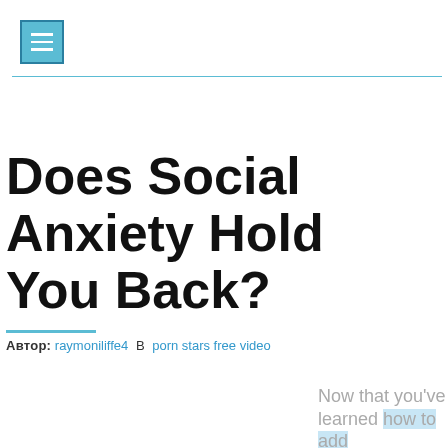≡
Does Social Anxiety Hold You Back?
Автор: raymoniliffe4  В porn stars free video
[Figure (illustration): Book cover showing 'Best of Branded' text on dark background, with BOBCM logo and editor names beside it]
Now that you've learned how to add